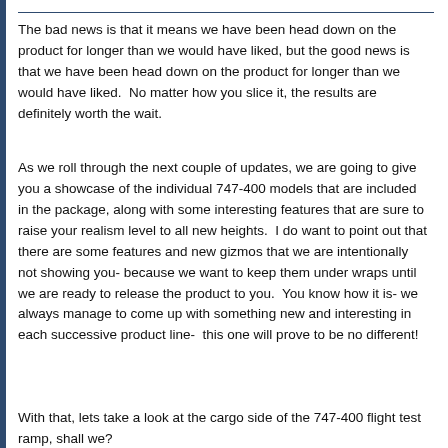The bad news is that it means we have been head down on the product for longer than we would have liked, but the good news is that we have been head down on the product for longer than we would have liked.  No matter how you slice it, the results are definitely worth the wait.
As we roll through the next couple of updates, we are going to give you a showcase of the individual 747-400 models that are included in the package, along with some interesting features that are sure to raise your realism level to all new heights.  I do want to point out that there are some features and new gizmos that we are intentionally not showing you- because we want to keep them under wraps until we are ready to release the product to you.  You know how it is- we always manage to come up with something new and interesting in each successive product line-  this one will prove to be no different!
With that, lets take a look at the cargo side of the 747-400 flight test ramp, shall we?